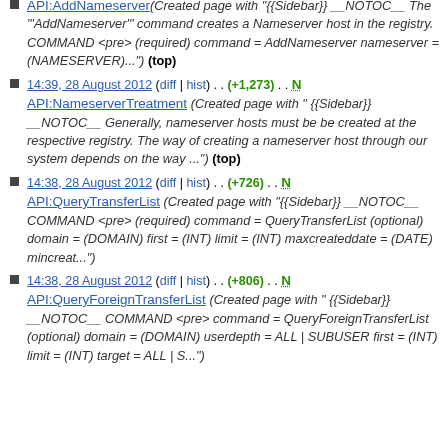API:AddNameserver (Created page with "{{Sidebar}} __NOTOC__ The "'AddNameserver'" command creates a Nameserver host in the registry. COMMAND <pre> (required) command = AddNameserver nameserver = (NAMESERVER)...") (top)
14:39, 28 August 2012 (diff | hist) . . (+1,273) . . N API:NameserverTreatment (Created page with " {{Sidebar}} __NOTOC__ Generally, nameserver hosts must be be created at the respective registry. The way of creating a nameserver host through our system depends on the way ...") (top)
14:38, 28 August 2012 (diff | hist) . . (+726) . . N API:QueryTransferList (Created page with "{{Sidebar}} __NOTOC__ COMMAND <pre> (required) command = QueryTransferList (optional) domain = (DOMAIN) first = (INT) limit = (INT) maxcreateddate = (DATE) mincreat...")
14:38, 28 August 2012 (diff | hist) . . (+806) . . N API:QueryForeignTransferList (Created page with " {{Sidebar}} __NOTOC__ COMMAND <pre> command = QueryForeignTransferList (optional) domain = (DOMAIN) userdepth = ALL | SUBUSER first = (INT) limit = (INT) target = ALL | S...")